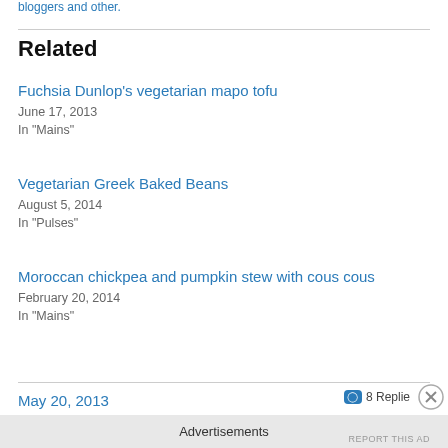bloggers and other.
Related
Fuchsia Dunlop's vegetarian mapo tofu
June 17, 2013
In "Mains"
Vegetarian Greek Baked Beans
August 5, 2014
In "Pulses"
Moroccan chickpea and pumpkin stew with cous cous
February 20, 2014
In "Mains"
May 20, 2013
8 Replies
Advertisements
REPORT THIS AD